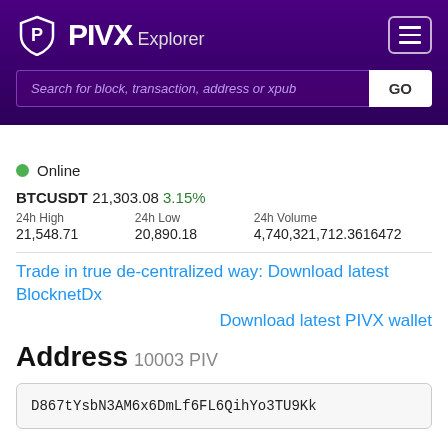PIVX Explorer
Search for block, transaction, address or xpub
Online
BTCUSDT 21,303.08 3.15%
| 24h High | 24h Low | 24h Volume |
| --- | --- | --- |
| 21,548.71 | 20,890.18 | 4,740,321,712.3616472 |
Trade in true de-centralized way: Download latest BlocknetDx
Download latest PIVX wallet
Address 10003 PIV
D867tYsbN3AM6x6DmLf6FL6QihYo3TU9Kk